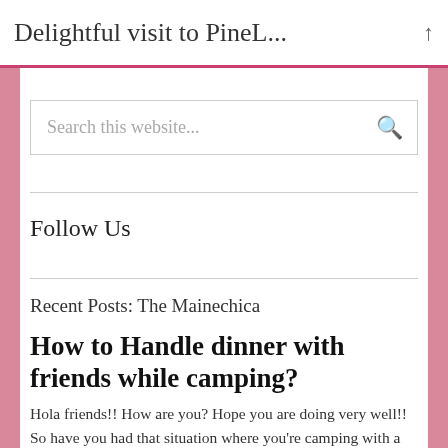Delightful visit to PineL...
[Figure (screenshot): Search box with placeholder text 'Search this website...' and a magnifying glass icon]
Follow Us
Recent Posts: The Mainechica
How to Handle dinner with friends while camping?
Hola friends!! How are you? Hope you are doing very well!! So have you had that situation where you're camping with a group & need to figure out meals??